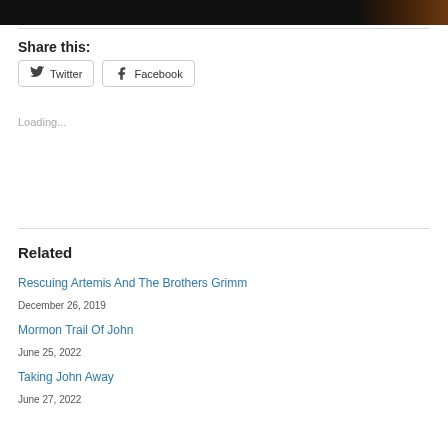[Figure (photo): Dark photograph strip at top of page, showing a dark background with orange/brown tones on the right side]
Share this:
Twitter
Facebook
Loading...
Related
Rescuing Artemis And The Brothers Grimm
December 26, 2019
Mormon Trail Of John
June 25, 2022
Taking John Away
June 27, 2022